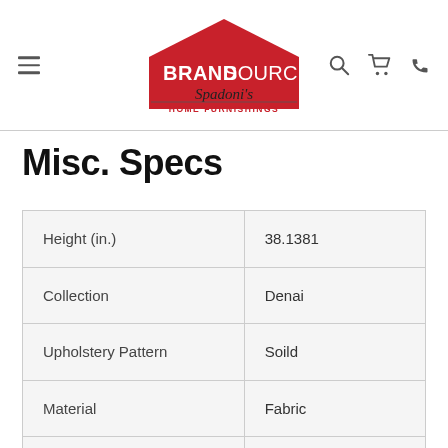[Figure (logo): BrandSource Spadoni's Home Furnishings logo with house icon]
Misc. Specs
|  |  |
| --- | --- |
| Height (in.) | 38.1381 |
| Collection | Denai |
| Upholstery Pattern | Soild |
| Material | Fabric |
| Depth (in.) | 24.765 |